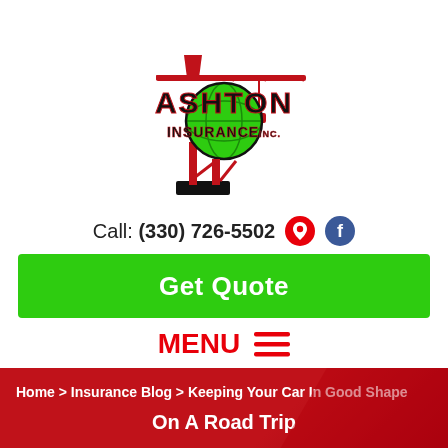[Figure (logo): Ashton Insurance Inc. logo with red construction crane and green globe]
Call: (330) 726-5502
Get Quote
MENU ☰
Home > Insurance Blog > Keeping Your Car In Good Shape
On A Road Trip